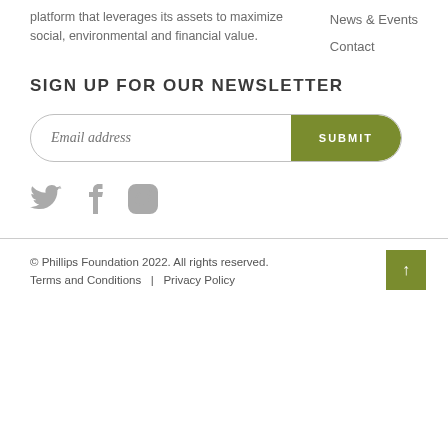platform that leverages its assets to maximize social, environmental and financial value.
News & Events
Contact
SIGN UP FOR OUR NEWSLETTER
[Figure (infographic): Email address input field with SUBMIT button, styled with rounded pill shape and olive green button]
[Figure (infographic): Social media icons: Twitter bird, Facebook f, Instagram camera outline — displayed in gray]
© Phillips Foundation 2022. All rights reserved. Terms and Conditions | Privacy Policy